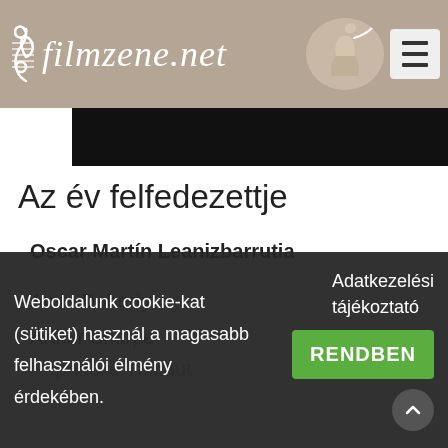filmzene.net
Az év felfedezettje
Oscar Martín Leanizbarrutia
Amie Doherty
Arthur Sharpe
Raphaelle Thibaut
Weboldalunk cookie-kat (sütiket) használ a magasabb felhasználói élmény érdekében.
Adatkezelési tájékoztató
RENDBEN